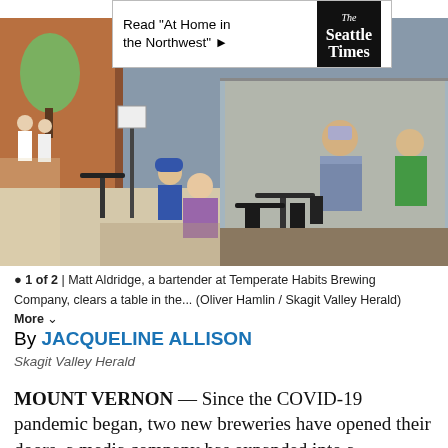[Figure (other): Advertisement banner: Read 'At Home in the Northwest' with The Seattle Times logo]
[Figure (photo): Outdoor dining scene at Temperate Habits Brewing Company. A masked bartender clears a table while customers sit at outdoor tables on a sidewalk.]
1 of 2 | Matt Aldridge, a bartender at Temperate Habits Brewing Company, clears a table in the... (Oliver Hamlin / Skagit Valley Herald) More
By JACQUELINE ALLISON
Skagit Valley Herald
MOUNT VERNON — Since the COVID-19 pandemic began, two new breweries have opened their doors, a media company has expanded into a downtown store front, and a coffee shop has added its...